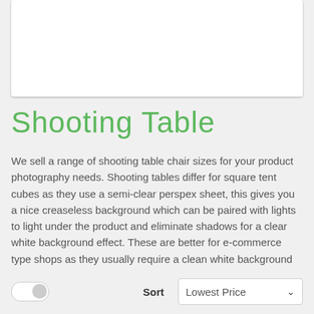[Figure (other): White card/panel area at the top of the page, part of a webpage screenshot]
Shooting Table
We sell a range of shooting table chair sizes for your product photography needs. Shooting tables differ for square tent cubes as they use a semi-clear perspex sheet, this gives you a nice creaseless background which can be paired with lights to light under the product and eliminate shadows for a clear white background effect. These are better for e-commerce type shops as they usually require a clean white background for online placement.